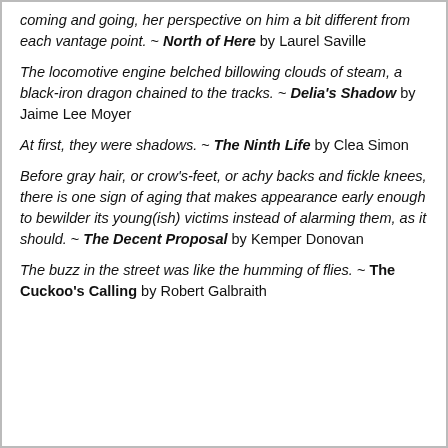coming and going, her perspective on him a bit different from each vantage point. ~ North of Here by Laurel Saville
The locomotive engine belched billowing clouds of steam, a black-iron dragon chained to the tracks. ~ Delia's Shadow by Jaime Lee Moyer
At first, they were shadows. ~ The Ninth Life by Clea Simon
Before gray hair, or crow's-feet, or achy backs and fickle knees, there is one sign of aging that makes appearance early enough to bewilder its young(ish) victims instead of alarming them, as it should. ~ The Decent Proposal by Kemper Donovan
The buzz in the street was like the humming of flies. ~ The Cuckoo's Calling by Robert Galbraith